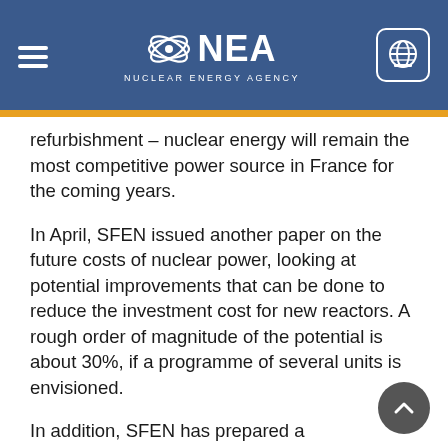NEA Nuclear Energy Agency
refurbishment – nuclear energy will remain the most competitive power source in France for the coming years.
In April, SFEN issued another paper on the future costs of nuclear power, looking at potential improvements that can be done to reduce the investment cost for new reactors. A rough order of magnitude of the potential is about 30%, if a programme of several units is envisioned.
In addition, SFEN has prepared a communication plan and a publication about nuclear scenarios for France based on a European modelling approach